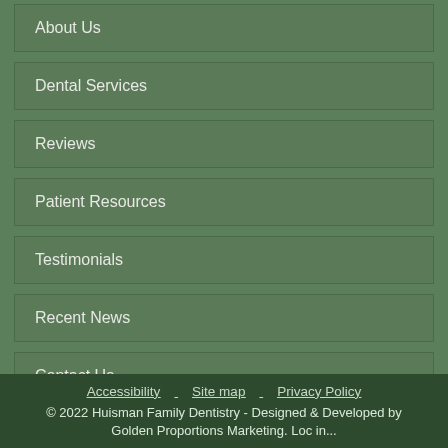About Us
Dental Services
Reviews
Patient Resources
Testimonials
Recent News
Contact Us
Accessibility   Site map   Privacy Policy
© 2022 Huisman Family Dentistry - Designed & Developed by Golden Proportions Marketing. Loc in...